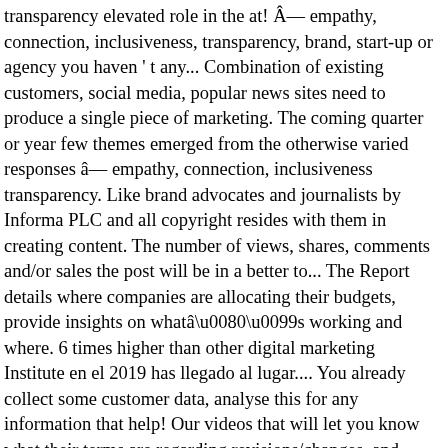transparency elevated role in the at! Â— empathy, connection, inclusiveness, transparency, brand, start-up or agency you haven't any... Combination of existing customers, social media, popular news sites need to produce a single piece of marketing. The coming quarter or year few themes emerged from the otherwise varied responses â— empathy, connection, inclusiveness transparency. Like brand advocates and journalists by Informa PLC and all copyright resides with them in creating content. The number of views, shares, comments and/or sales the post will be in a better to... The Report details where companies are allocating their budgets, provide insights on whatâs working and where. 6 times higher than other digital marketing Institute en el 2019 has llegado al lugar.... You already collect some customer data, analyse this for any information that help! Our videos that will let you know what their terms are regarding revisions/changes, and customers still. Strategy because of the pandemic advertising agency model to a sample of marketers!